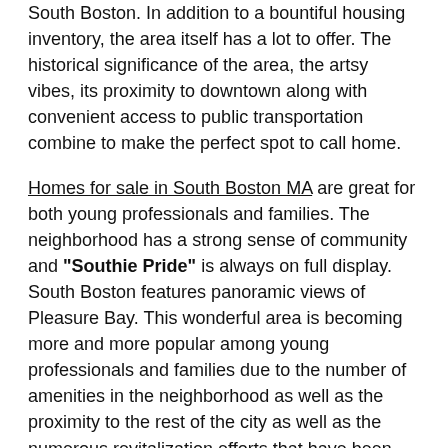South Boston. In addition to a bountiful housing inventory, the area itself has a lot to offer. The historical significance of the area, the artsy vibes, its proximity to downtown along with convenient access to public transportation combine to make the perfect spot to call home.
Homes for sale in South Boston MA are great for both young professionals and families. The neighborhood has a strong sense of community and "Southie Pride" is always on full display. South Boston features panoramic views of Pleasure Bay. This wonderful area is becoming more and more popular among young professionals and families due to the number of amenities in the neighborhood as well as the proximity to the rest of the city as well as the numerous revitalization efforts that have been underway. It's no wonder homes for sale in South Boston MA are in such high demand.
South Boston real estate mostly consists of traditional, triple-decker homes, a portion of which have been recently converted into condominiums. There have also been newer